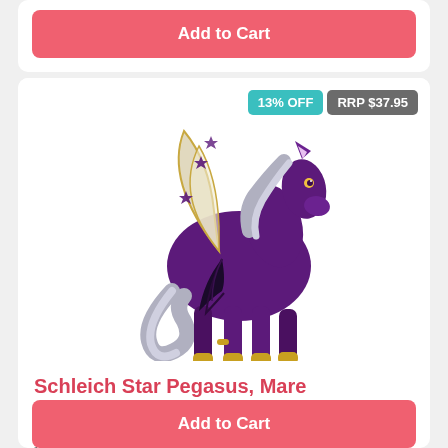Add to Cart
[Figure (photo): Schleich Star Pegasus Mare figurine — a purple winged horse with gold hooves, silver mane, and translucent wings decorated with purple stars]
13% OFF
RRP $37.95
Schleich Star Pegasus, Mare
$32.95
Add to Cart